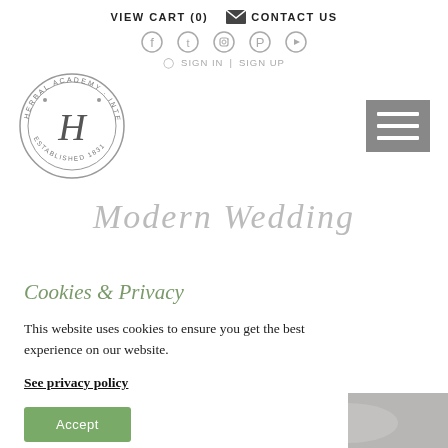VIEW CART (0)   CONTACT US
[Figure (illustration): Social media icons row: Facebook, Twitter, Instagram, Pinterest, YouTube]
SIGN IN  |  SIGN UP
[Figure (logo): Herbal Academy International School circular stamp logo with letter H in center, Established 1831]
[Figure (illustration): Hamburger menu icon (three horizontal lines) on grey background]
Modern Wedding
Cookies & Privacy
This website uses cookies to ensure you get the best experience on our website.
See privacy policy
Accept